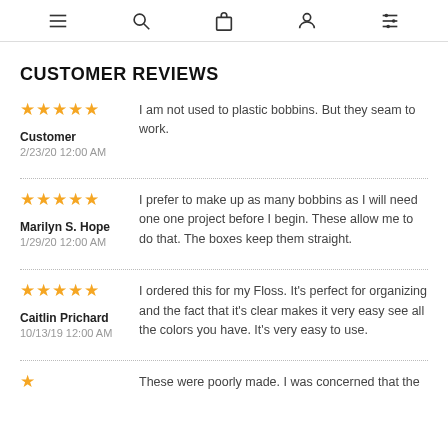Navigation icons: menu, search, bag, account, filters
CUSTOMER REVIEWS
★★★★★
Customer
2/23/20 12:00 AM
I am not used to plastic bobbins. But they seam to work.
★★★★★
Marilyn S. Hope
1/29/20 12:00 AM
I prefer to make up as many bobbins as I will need one one project before I begin. These allow me to do that. The boxes keep them straight.
★★★★★
Caitlin Prichard
10/13/19 12:00 AM
I ordered this for my Floss. It's perfect for organizing and the fact that it's clear makes it very easy see all the colors you have. It's very easy to use.
★
These were poorly made. I was concerned that the